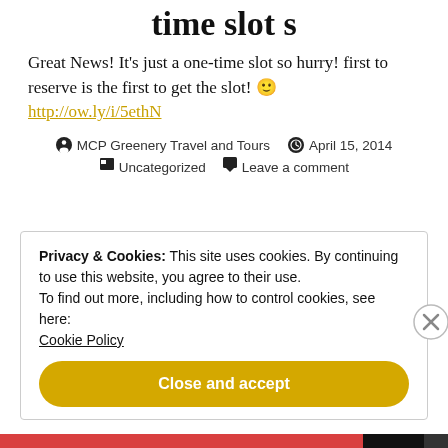time slot s
Great News! It's just a one-time slot so hurry! first to reserve is the first to get the slot! 🙂 http://ow.ly/i/5ethN
MCP Greenery Travel and Tours  April 15, 2014  Uncategorized  Leave a comment
Privacy & Cookies: This site uses cookies. By continuing to use this website, you agree to their use. To find out more, including how to control cookies, see here: Cookie Policy
Close and accept